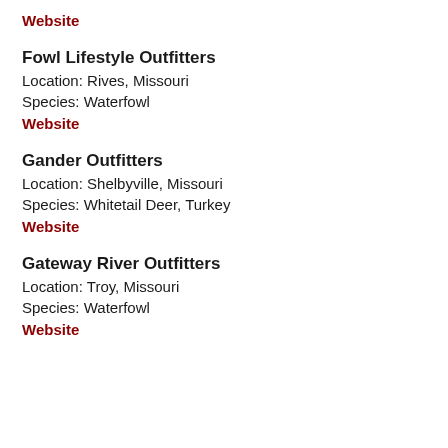Website
Fowl Lifestyle Outfitters
Location: Rives, Missouri
Species: Waterfowl
Website
Gander Outfitters
Location: Shelbyville, Missouri
Species: Whitetail Deer, Turkey
Website
Gateway River Outfitters
Location: Troy, Missouri
Species: Waterfowl
Website